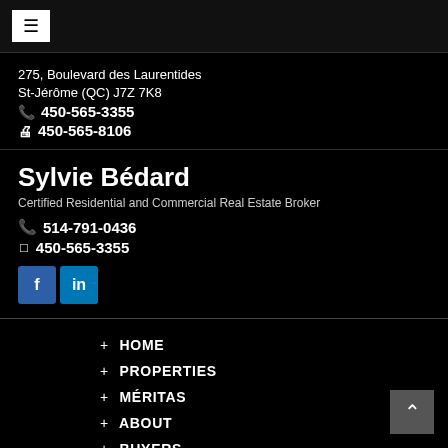≡ (hamburger menu button)
275, Boulevard des Laurentides
St-Jérôme (QC) J7Z 7K8
📞 450-565-3355
🖨 450-565-8106
Sylvie Bédard
Certified Residential and Commercial Real Estate Broker
📞 514-791-0436
□ 450-565-3355
[Figure (other): Facebook and LinkedIn social media icon buttons]
+ HOME
+ PROPERTIES
+ MÉRITAS
+ ABOUT
+ BUYERS
+ SELLERS
+ VIDEOS